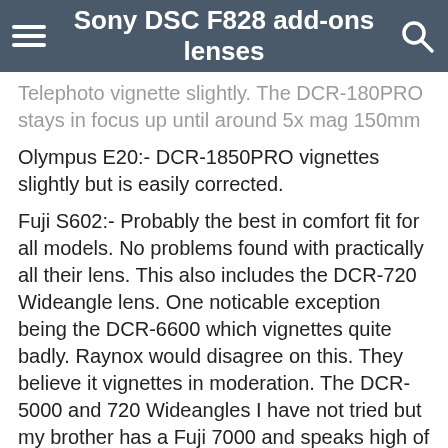Sony DSC F828 add-ons lenses
Telephoto vignette slightly. The DCR-180PRO stays in focus up until around 5x mag 150mm
Olympus E20:- DCR-1850PRO vignettes slightly but is easily corrected.
Fuji S602:- Probably the best in comfort fit for all models. No problems found with practically all their lens. This also includes the DCR-720 Wideangle lens. One noticable exception being the DCR-6600 which vignettes quite badly. Raynox would disagree on this. They believe it vignettes in moderation. The DCR-5000 and 720 Wideangles I have not tried but my brother has a Fuji 7000 and speaks high of the DCR-720 although its wideangle is not strong.
Casio QV-5700:- Although the 2 telephoto lens are fine, dont try to use the 180Pro fisheye with it. Raynox say at 3x it has problems focusing. Wrong, it has issues from 2x